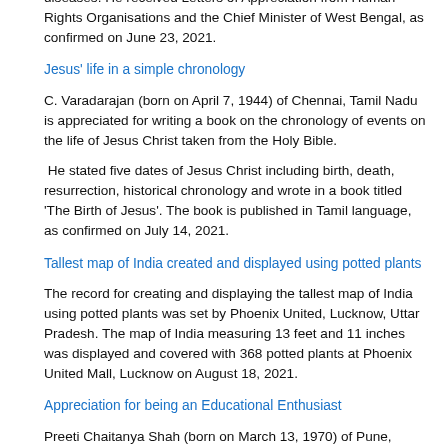diseases. He received Letters of Appreciation from Human Rights Organisations and the Chief Minister of West Bengal, as confirmed on June 23, 2021.
Jesus' life in a simple chronology
C. Varadarajan (born on April 7, 1944) of Chennai, Tamil Nadu is appreciated for writing a book on the chronology of events on the life of Jesus Christ taken from the Holy Bible.
He stated five dates of Jesus Christ including birth, death, resurrection, historical chronology and wrote in a book titled 'The Birth of Jesus'. The book is published in Tamil language, as confirmed on July 14, 2021.
Tallest map of India created and displayed using potted plants
The record for creating and displaying the tallest map of India using potted plants was set by Phoenix United, Lucknow, Uttar Pradesh. The map of India measuring 13 feet and 11 inches was displayed and covered with 368 potted plants at Phoenix United Mall, Lucknow on August 18, 2021.
Appreciation for being an Educational Enthusiast
Preeti Chaitanya Shah (born on March 13, 1970) of Pune,